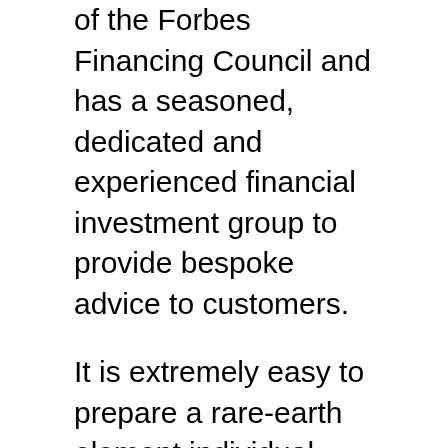of the Forbes Financing Council and has a seasoned, dedicated and experienced financial investment group to provide bespoke advice to customers.
It is extremely easy to prepare a rare-earth element individual retirement account with Regal Possessions. They provide a suitable selection of internal revenue service licensed rare-earth element bars and also coins that can be held in an IRA. To get started with the firm, visit their internet site to check out the online application form. Fill this in by sending the asked for information. Then, move the quantity of cash you wish to invest and also choose which bars as well as coins to consist of in your individual financial investment or IRA account.